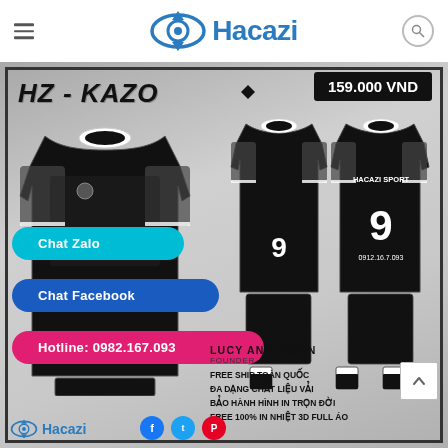Hacazi
[Figure (photo): Product listing page for HZ-KAZO football kit (jersey, shorts, and socks) in black with grey pattern. Shows front view of jersey on left and full kit front/back view on right. Price shown as 159.000 VND. Chat Zalo, Chat Facebook, and Hotline buttons overlay the image. Bottom shows seller info: Lucy Anderson, Founder, Free Ship Toàn Quốc, Đa Dạng Chất Liệu Vải, Bảo Hành Hình In Trọn Đời, Free 100% In Nhiệt 3D Full Áo. Hacazi logo and social icons at bottom.]